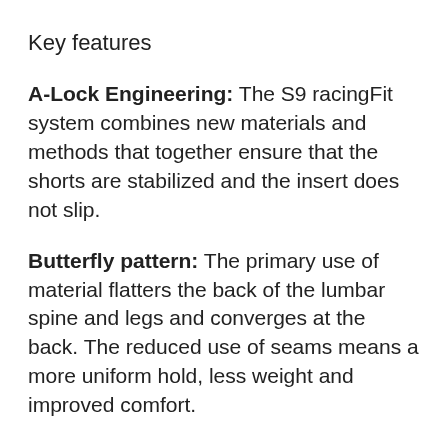Key features
A-Lock Engineering: The S9 racingFit system combines new materials and methods that together ensure that the shorts are stabilized and the insert does not slip.
Butterfly pattern: The primary use of material flatters the back of the lumbar spine and legs and converges at the back. The reduced use of seams means a more uniform hold, less weight and improved comfort.
Type.441: A patented 40-gauge circular knit that was specially created for compressive hold and silky-soft comfort. 200 g / m2, USF 50+, moisture wicking (idroFil fastDry)